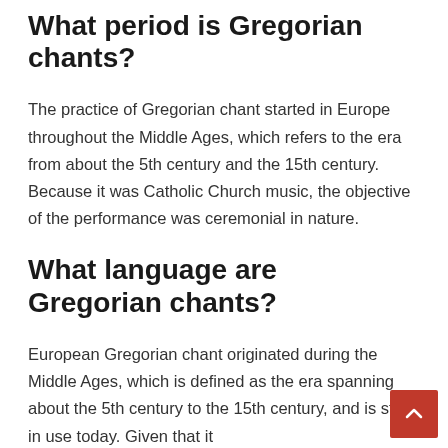What period is Gregorian chants?
The practice of Gregorian chant started in Europe throughout the Middle Ages, which refers to the era from about the 5th century and the 15th century. Because it was Catholic Church music, the objective of the performance was ceremonial in nature.
What language are Gregorian chants?
European Gregorian chant originated during the Middle Ages, which is defined as the era spanning about the 5th century to the 15th century, and is still in use today. Given that it